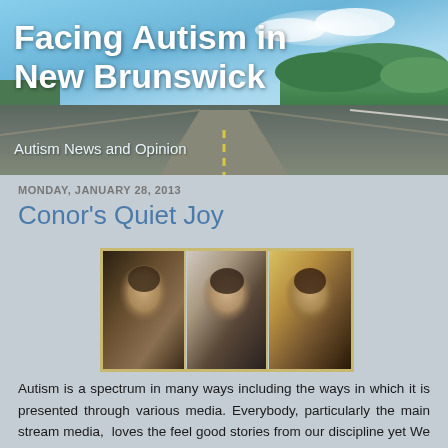[Figure (photo): Blog header banner with scenic road stretching into distance, blue sky, green trees on right side, and white text overlay]
Facing Autism in New Brunswick
Autism News and Opinion
MONDAY, JANUARY 28, 2013
Conor's Quiet Joy
[Figure (photo): Three side-by-side photographs of a young man with dark hair showing different facial expressions, framed with a golden/tan border]
Autism is a spectrum in many ways including the ways in which it is presented through various media. Everybody, particularly the main stream media,  loves the feel good stories from our discipline yet We all offer a